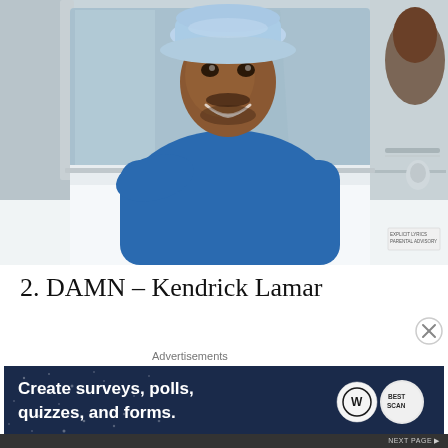[Figure (photo): Black man in a blue sweater and light blue bucket hat, smiling and leaning out of the window of a white classic car. He is looking toward the camera with a wide smile.]
2. DAMN – Kendrick Lamar
Advertisements
[Figure (screenshot): Advertisement banner with dark blue starry background reading 'Create surveys, polls, quizzes, and forms.' with WordPress and SurveyMark logos on the right.]